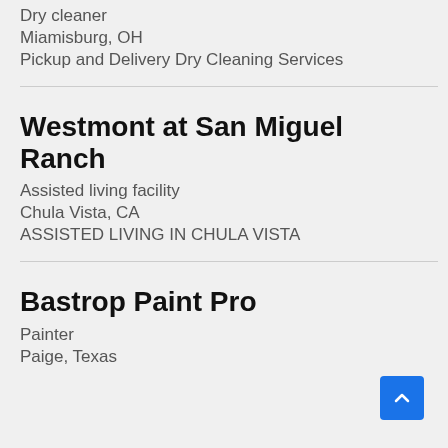Dry cleaner
Miamisburg, OH
Pickup and Delivery Dry Cleaning Services
Westmont at San Miguel Ranch
Assisted living facility
Chula Vista, CA
ASSISTED LIVING IN CHULA VISTA
Bastrop Paint Pro
Painter
Paige, Texas